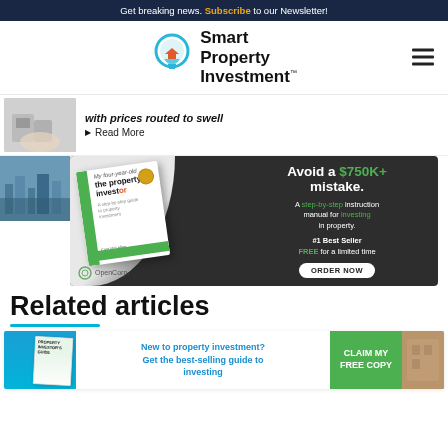Get breaking news. Subscribe to our Newsletter!
[Figure (logo): Smart Property Investment logo with lightbulb icon]
with prices routed to swell
Read More
[Figure (photo): Hands holding a lock/security device]
[Figure (photo): City skyline aerial photo]
[Figure (illustration): OpenCorp advertisement: Avoid a $750K+ mistake. A step-by-step instruction manual for investing in property. #1 Best Seller FREE for a limited time. ORDER NOW]
Related articles
[Figure (infographic): CTA banner: New to property investment? Get the best-selling guide to investing. CLAIM MY FREE COPY]